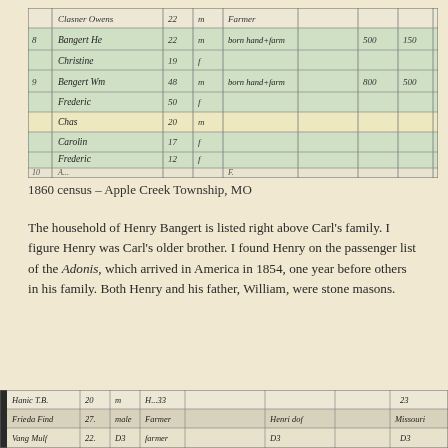[Figure (table-as-image): 1860 US Census document showing handwritten entries for Bangert households in Apple Creek Township, MO. Rows include entries for Bangert families with ages, sex, occupation (farmer), and property values.]
1860 census – Apple Creek Township, MO
The household of Henry Bangert is listed right above Carl's family. I figure Henry was Carl's older brother. I found Henry on the passenger list of the Adonis, which arrived in America in 1854, one year before others in his family. Both Henry and his father, William, were stone masons.
[Figure (table-as-image): Bottom portion of 1860 census document showing additional handwritten entries with columns for name, age, sex, occupation, and other fields.]